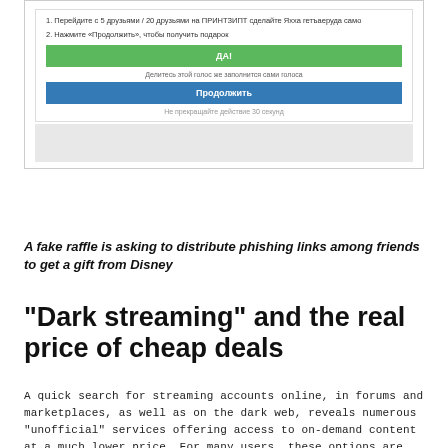[Figure (screenshot): A screenshot of a fake raffle page in Russian, showing steps, a green 'ДА!' button, a share prompt, a blue 'Продолжить' (Continue) button, and a timer notice]
A fake raffle is asking to distribute phishing links among friends to get a gift from Disney
“Dark streaming” and the real price of cheap deals
A quick search for streaming accounts online, in forums and marketplaces, as well as on the dark web, reveals numerous “unofficial” services offering access to on-demand content at a much lower price. For many users, these options are too good to ignore.
A typical scenario would see a user buying access to a password-sharing account. With most streaming services offering the option